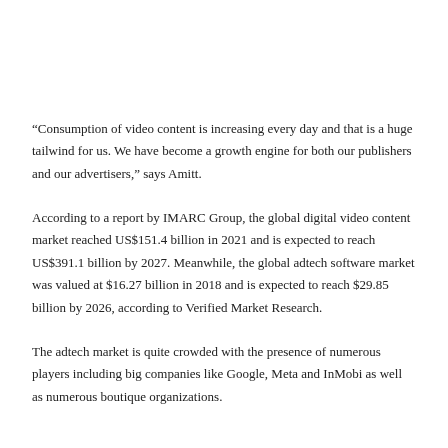“Consumption of video content is increasing every day and that is a huge tailwind for us. We have become a growth engine for both our publishers and our advertisers,” says Amitt.
According to a report by IMARC Group, the global digital video content market reached US$151.4 billion in 2021 and is expected to reach US$391.1 billion by 2027. Meanwhile, the global adtech software market was valued at $16.27 billion in 2018 and is expected to reach $29.85 billion by 2026, according to Verified Market Research.
The adtech market is quite crowded with the presence of numerous players including big companies like Google, Meta and InMobi as well as numerous boutique organizations.